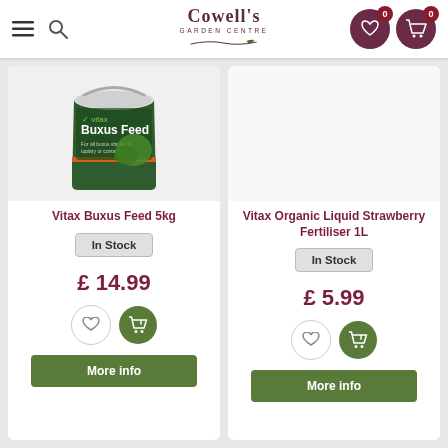Cowell's Garden Centre
[Figure (photo): Vitax Buxus Feed 5kg green bucket product photo]
Vitax Buxus Feed 5kg
In Stock
£ 14.99
[Figure (photo): Vitax Organic Liquid Strawberry Fertiliser 1L product (no image shown)]
Vitax Organic Liquid Strawberry Fertiliser 1L
In Stock
£ 5.99